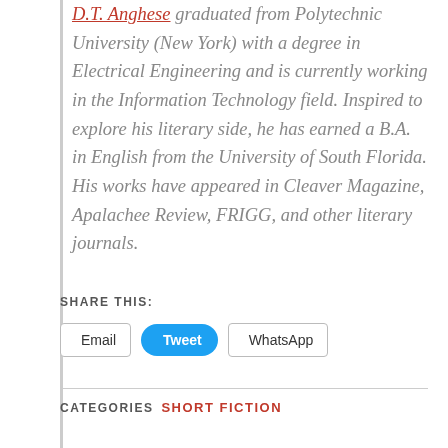D.T. Anghese graduated from Polytechnic University (New York) with a degree in Electrical Engineering and is currently working in the Information Technology field. Inspired to explore his literary side, he has earned a B.A. in English from the University of South Florida. His works have appeared in Cleaver Magazine, Apalachee Review, FRIGG, and other literary journals.
SHARE THIS:
Email | Tweet | WhatsApp
CATEGORIES  SHORT FICTION